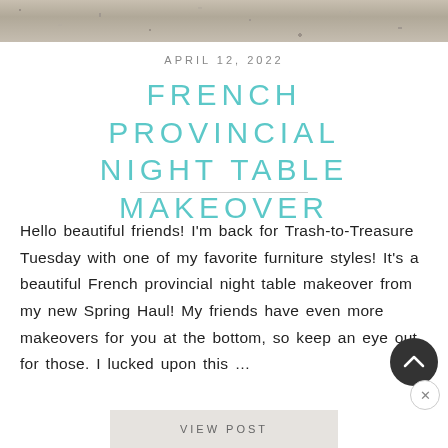[Figure (photo): Top portion of a stone/concrete texture photograph, cropped at the top of the page]
APRIL 12, 2022
FRENCH PROVINCIAL NIGHT TABLE MAKEOVER
Hello beautiful friends! I'm back for Trash-to-Treasure Tuesday with one of my favorite furniture styles! It's a beautiful French provincial night table makeover from my new Spring Haul! My friends have even more makeovers for you at the bottom, so keep an eye out for those. I lucked upon this ...
VIEW POST